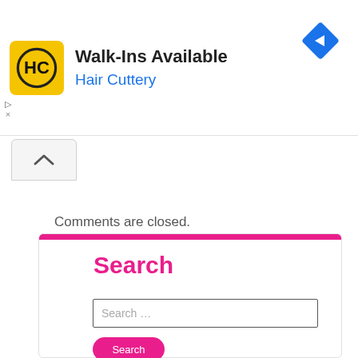[Figure (screenshot): Hair Cuttery advertisement banner with yellow logo, 'Walk-Ins Available' text, 'Hair Cuttery' subtitle in blue, and a blue navigation diamond icon on the right. Small play and X controls on the left.]
[Figure (screenshot): Collapse/accordion button with an upward caret (^) chevron icon]
Comments are closed.
Search
[Figure (screenshot): Search input box with placeholder text 'Search ...' and a pink Search button below]